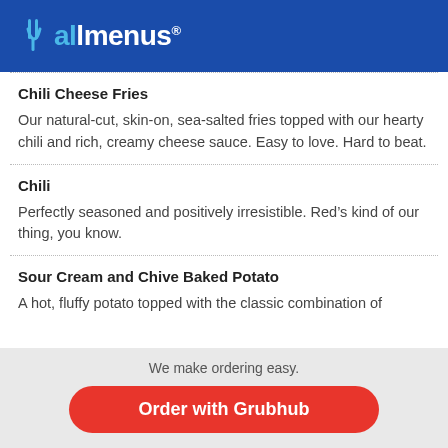allmenus
Chili Cheese Fries
Our natural-cut, skin-on, sea-salted fries topped with our hearty chili and rich, creamy cheese sauce. Easy to love. Hard to beat.
Chili
Perfectly seasoned and positively irresistible. Red’s kind of our thing, you know.
Sour Cream and Chive Baked Potato
A hot, fluffy potato topped with the classic combination of
We make ordering easy.
Order with Grubhub